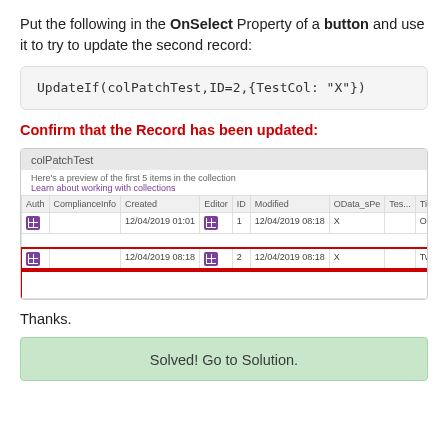Put the following in the OnSelect Property of a button and use it to try to update the second record:
Confirm that the Record has been updated:
[Figure (screenshot): Screenshot of colPatchTest collection preview showing two rows. Row 2 is highlighted with a red border. Columns: Auth, ComplianceInfo, Created, Editor, ID, Modified, OData_sPe, TestC, Title. Row 1: ID=1, Created=12/04/2019 01:01, Modified=12/04/2019 08:18, X, On+. Row 2: ID=2, Created=12/04/2019 08:18, Modified=12/04/2019 08:18, X, Two.]
Thanks.
Solved! Go to Solution.